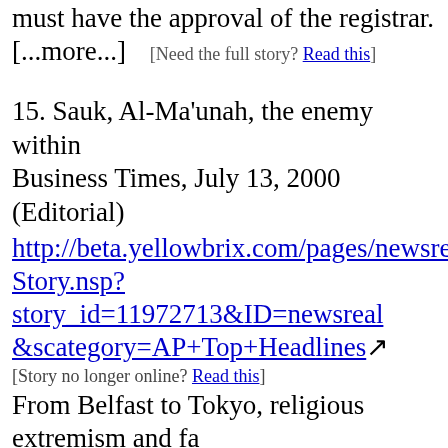must have the approval of the registrar.
[...more...]  [Need the full story? Read this]
15. Sauk, Al-Ma'unah, the enemy within Business Times, July 13, 2000 (Editorial) http://beta.yellowbrix.com/pages/newsreal/Story.nsp?story_id=11972713&ID=newsreal&scategory=AP+Top+Headlines
[Story no longer online? Read this]
From Belfast to Tokyo, religious extremism and fa... the divine to perform the devil's work. Deviationist... broken up family ties, destroyed communities, and... obsession to attain their goals. They have turned... simply infamous, as in the case of Waco in the US... by leaving traces of their violent acts, senseless m... Tokyo sub-way gas attack by the Aum Shinri Kyo... Tate by the Mason cult were grim reminders of wh... capable of. Unchecked, they could lead to the so... people in some countries are quite familiar with.
The Sauk incident in Malaysia is not and should n...